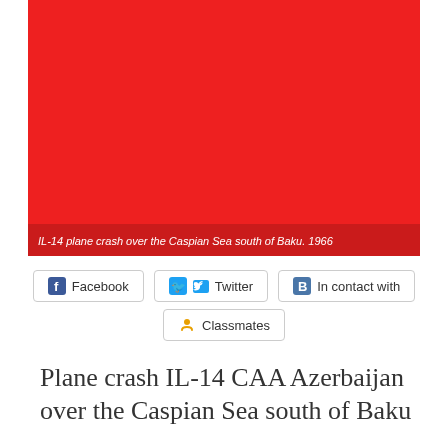[Figure (photo): Red background image (IL-14 plane crash over the Caspian Sea south of Baku, 1966). The image area is predominantly red.]
IL-14 plane crash over the Caspian Sea south of Baku. 1966
Facebook  Twitter  In contact with  Classmates
Plane crash IL-14 CAA Azerbaijan over the Caspian Sea south of Baku